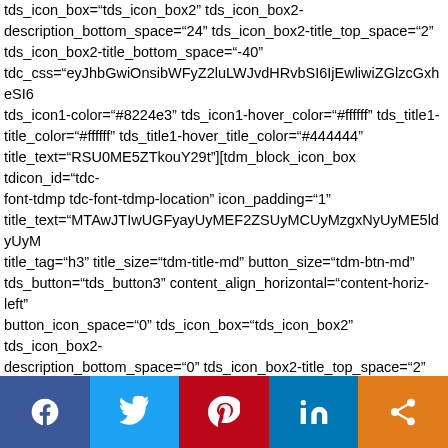tds_icon_box="tds_icon_box2" tds_icon_box2-description_bottom_space="24" tds_icon_box2-title_top_space="2" tds_icon_box2-title_bottom_space="-40" tdc_css="eyJhbGwiOnsibWFyZ2luLWJvdHRvbSI6IjEwliwiZGlzcGxheSI6 tds_icon1-color="#8224e3" tds_icon1-hover_color="#ffffff" tds_title1-title_color="#ffffff" tds_title1-hover_title_color="#444444" title_text="RSU0ME5ZTkouY29t"][tdm_block_icon_box tdicon_id="tdc-font-tdmp tdc-font-tdmp-location" icon_padding="1" title_text="MTAwJTIwUGFyayUyMEF2ZSUyMCUyMzgxNyUyME5ldyUyM title_tag="h3" title_size="tdm-title-md" button_size="tdm-btn-md" tds_button="tds_button3" content_align_horizontal="content-horiz-left" button_icon_space="0" tds_icon_box="tds_icon_box2" tds_icon_box2-description_bottom_space="0" tds_icon_box2-title_top_space="2" tds_icon_box2-title_bottom_space="-40" tdc_css="eyJhbGwiOnsibWFyZ2luLWJvdHRvbSI6IjEwliwiZGlzcGxheSI6 tds_icon1-color="#8224e3" tds_icon1-hover_color="#ffffff" tds_title1-title_color="#ffffff" tds_title1-hover_title_color="#444444" icon_size="60"] [tdm_block_socials facebook="#nynj.media" twitter="#nynjcom" instagram="#nynj.media" tdc_css="ey tds_social1-
[Figure (infographic): Social media share buttons bar: Facebook (blue), Twitter (light blue), Pinterest (red), LinkedIn (blue), Share/more (orange)]